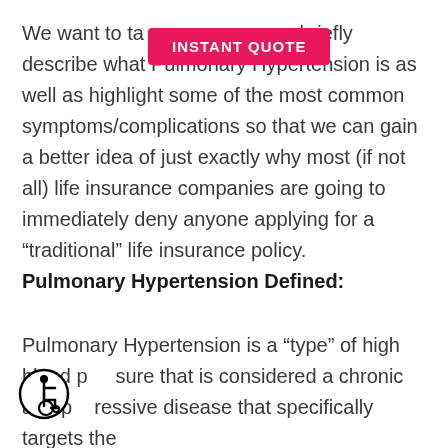[Figure (other): INSTANT QUOTE button — pink/magenta rounded rectangle with white bold uppercase text]
We want to ta[ke a moment to] briefly describe what Pulmonary Hypertension is as well as highlight some of the most common symptoms/complications so that we can gain a better idea of just exactly why most (if not all) life insurance companies are going to immediately deny anyone applying for a “traditional” life insurance policy.
Pulmonary Hypertension Defined:
Pulmonary Hypertension is a “type” of high blood pressure that is considered a chronic and progressive disease that specifically targets the
[Figure (illustration): Accessibility wheelchair user icon — circular black outlined icon with a person in a wheelchair]